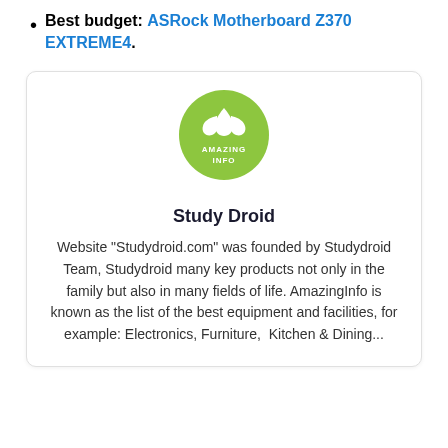Best budget: ASRock Motherboard Z370 EXTREME4.
[Figure (logo): Green circular logo with a white plant/leaf icon and text 'AMAZING INFO' in white]
Study Droid
Website "Studydroid.com" was founded by Studydroid Team, Studydroid many key products not only in the family but also in many fields of life. AmazingInfo is known as the list of the best equipment and facilities, for example: Electronics, Furniture,  Kitchen & Dining...